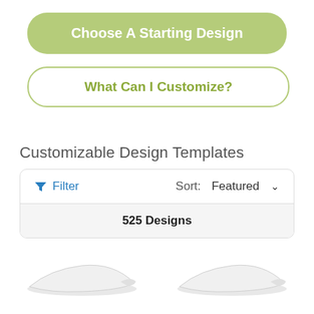Choose A Starting Design
What Can I Customize?
Customizable Design Templates
Filter
Sort:  Featured
525 Designs